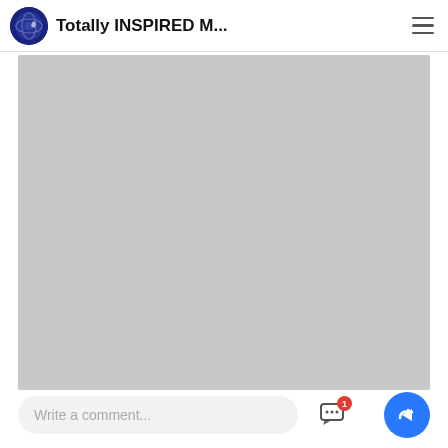Totally INSPIRED M...
[Figure (photo): Large gray placeholder image area occupying most of the page]
Write a comment...
[Figure (other): Chat bubble icon with red badge showing '1']
[Figure (other): Blue circular share/forward button]